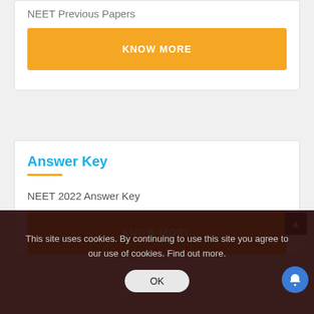NEET Previous Papers
KNOW MORE
Answer Key
NEET 2022 Answer Key
KNOW MORE
This site uses cookies. By continuing to use this site you agree to our use of cookies. Find out more.
OK